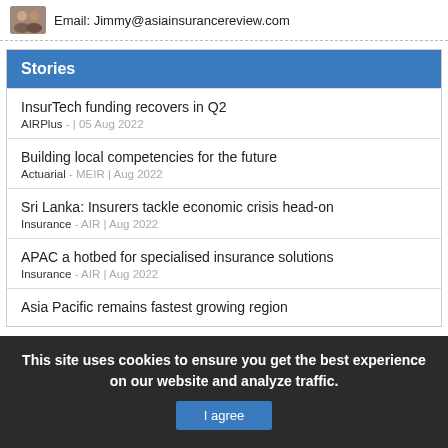Email: Jimmy@asiainsurancereview.com
Stories
InsurTech funding recovers in Q2
AIRPlus - | 05 Aug 2022
Building local competencies for the future
Actuarial - MEIR | Aug 2022
Sri Lanka: Insurers tackle economic crisis head-on
Insurance - AIR | Aug 2022
APAC a hotbed for specialised insurance solutions
Insurance - AIR | Aug 2022
Asia Pacific remains fastest growing region
This site uses cookies to ensure you get the best experience on our website and analyze traffic.
I agree